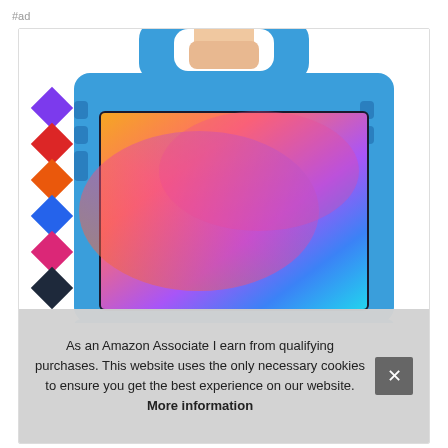#ad
[Figure (photo): A blue foam kids tablet case with a built-in handle, holding a Samsung Galaxy Tab. Color swatches on the left side show purple, red, orange, blue, pink/magenta, and dark options.]
As an Amazon Associate I earn from qualifying purchases. This website uses the only necessary cookies to ensure you get the best experience on our website. More information